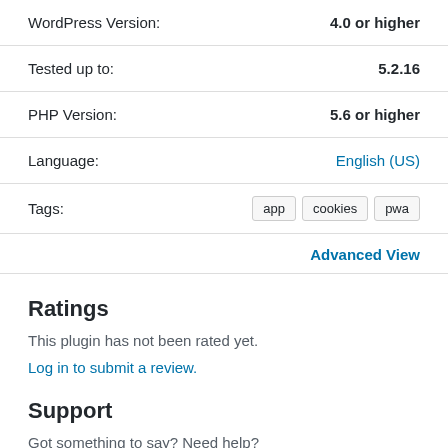WordPress Version: 4.0 or higher
Tested up to: 5.2.16
PHP Version: 5.6 or higher
Language: English (US)
Tags: app cookies pwa
Advanced View
Ratings
This plugin has not been rated yet.
Log in to submit a review.
Support
Got something to say? Need help?